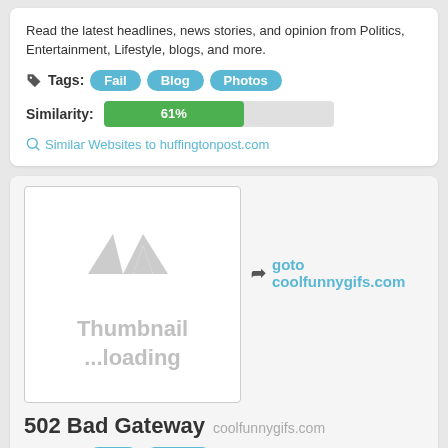Read the latest headlines, news stories, and opinion from Politics, Entertainment, Lifestyle, blogs, and more.
Tags: Fail Blog Photos
Similarity: 61%
Similar Websites to huffingtonpost.com
[Figure (screenshot): Thumbnail loading placeholder with AVA logo watermark and text 'Thumbnail ...loading']
goto coolfunnygifs.com
502 Bad Gateway coolfunnygifs.com
Tags: Fail Funny
Similarity: 61%